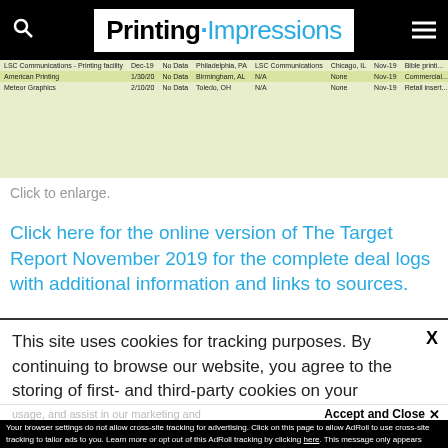Printing Impressions
| Company | Date | Data | Location | Acquirer | City | Month | Type |
| --- | --- | --- | --- | --- | --- | --- | --- |
| LSC Communications - Printing facility | Dec-19 | No Data | Philadelphia, PA | LSC Communications | Chicago, IL | Nov-19 | Bible printi... |
| American Printing | 1/30/20 | No Data | Birmingham, AL | N/A | None | Nov-19 | Commercial... |
| Meteor Graphics | 2/10/20 | No Data | Toledo, OH | N/A | None | Nov-19 | Retail insert... |
Click to enlarge.
Click here for the online version of The Target Report November 2019 for the complete deal logs with additional information and links to sources.
This site uses cookies for tracking purposes. By continuing to browse our website, you agree to the storing of first- and third-party cookies on your device to enhance site navigation, analyze site usage, and assist in our marketing and
Accept and Close ✕
Your browser settings do not allow cross-site tracking for advertising. Click on this page to allow AdRoll to use cross-site tracking to tailor ads to you. Learn more or opt out of this AdRoll tracking by clicking here. This message only appears once.